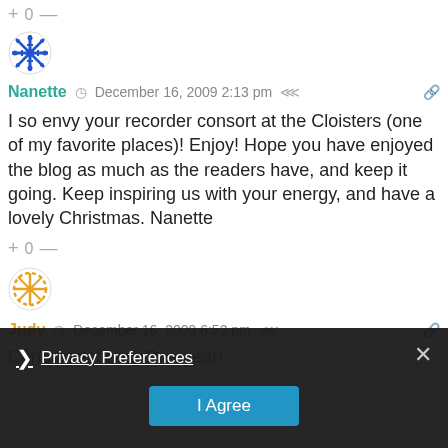+ 0 —
[Figure (illustration): Blue snowflake pattern avatar for Nanette]
Nanette  ◷ December 16, 2009 2:13 pm  ⋘  🔗
I so envy your recorder consort at the Cloisters (one of my favorite places)! Enjoy! Hope you have enjoyed the blog as much as the readers have, and keep it going. Keep inspiring us with your energy, and have a lovely Christmas. Nanette
+ 0 —
[Figure (illustration): Orange/gold snowflake pattern avatar for Judy]
Judy  ◷ December 16, 2009 6:52 pm  ⋘  🔗
Congratulations! One year!
+ 0 —
❯ Privacy Preferences
I Agree